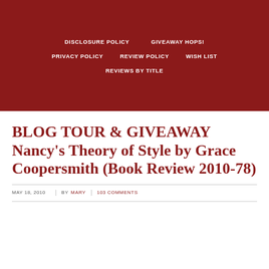DISCLOSURE POLICY   GIVEAWAY HOPS!   PRIVACY POLICY   REVIEW POLICY   WISH LIST   REVIEWS BY TITLE
BLOG TOUR & GIVEAWAY Nancy's Theory of Style by Grace Coopersmith (Book Review 2010-78)
MAY 18, 2010 | BY MARY | 103 COMMENTS